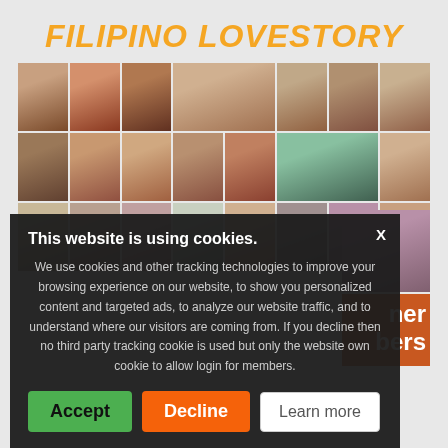FILIPINO LOVESTORY
[Figure (photo): Grid of profile photos of various people, men and women of different ethnicities]
This website is using cookies.
We use cookies and other tracking technologies to improve your browsing experience on our website, to show you personalized content and targeted ads, to analyze our website traffic, and to understand where our visitors are coming from. If you decline then no third party tracking cookie is used but only the website own cookie to allow login for members.
Accept
Decline
Learn more